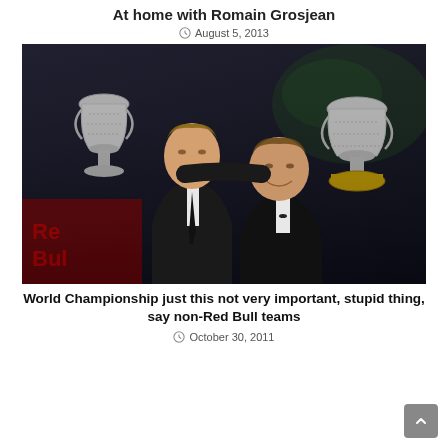At home with Romain Grosjean
August 5, 2013
[Figure (photo): Two men in formal black suits holding large trophy cups at what appears to be an awards ceremony with a Red Bull backdrop. The man on the left is taller and younger-looking, the man on the right is slightly shorter and heavier-set wearing a bow tie.]
World Championship just this not very important, stupid thing, say non-Red Bull teams
October 30, 2011